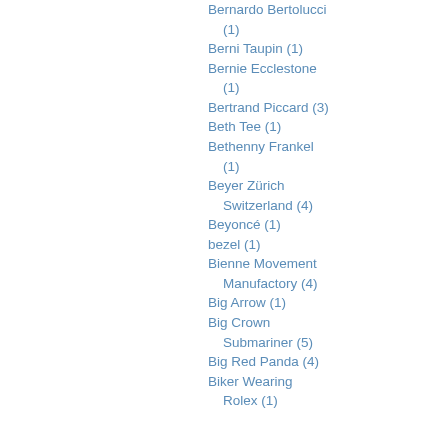Bernardo Bertolucci (1)
Berni Taupin (1)
Bernie Ecclestone (1)
Bertrand Piccard (3)
Beth Tee (1)
Bethenny Frankel (1)
Beyer Zürich Switzerland (4)
Beyoncé (1)
bezel (1)
Bienne Movement Manufactory (4)
Big Arrow (1)
Big Crown Submariner (5)
Big Red Panda (4)
Biker Wearing Rolex (1)